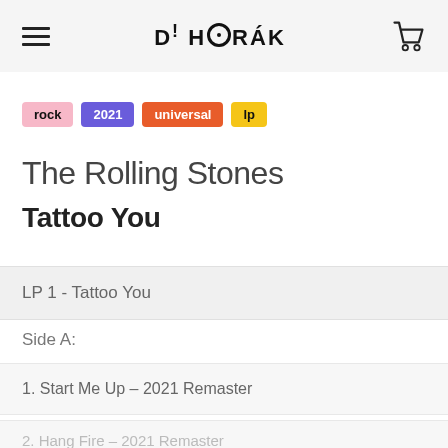D! HORÁK
rock
2021
universal
lp
The Rolling Stones
Tattoo You
LP 1 - Tattoo You
Side A:
1. Start Me Up – 2021 Remaster
2. Hang Fire – 2021 Remaster